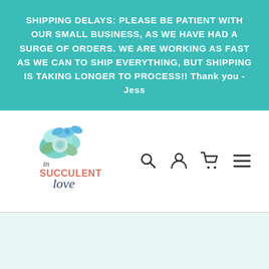SHIPPING DELAYS: PLEASE BE PATIENT WITH OUR SMALL BUSINESS, AS WE HAVE HAD A SURGE OF ORDERS. WE ARE WORKING AS FAST AS WE CAN TO SHIP EVERYTHING, BUT SHIPPING IS TAKING LONGER TO PROCESS!! Thank you - Jess
[Figure (logo): In Succulent Love brand logo with teal/blue succulent flowers and script lettering]
[Figure (infographic): Navigation bar icons: search magnifying glass, user account, shopping cart, hamburger menu]